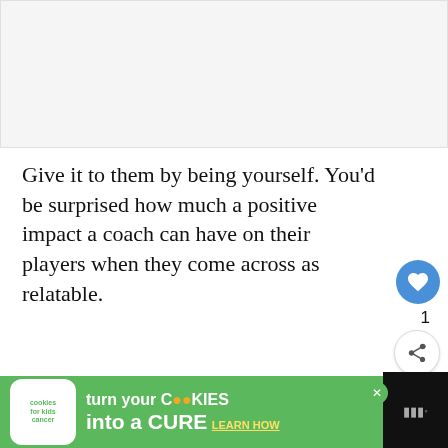[Figure (photo): Blank/white placeholder image area at top of page]
Give it to them by being yourself. You'd be surprised how much a positive impact a coach can have on their players when they come across as relatable.
Make Custom Handshakes.
Custom handshakes are the new hot thing. They help you bond with your players and show that you care. Creating a custom handshake is going to
[Figure (infographic): WHAT'S NEXT banner with thumbnail image and text 'Top 15 Reasons to...']
[Figure (photo): Advertisement banner: cookies for kids cancer - turn your COOKIES into a CURE LEARN HOW]